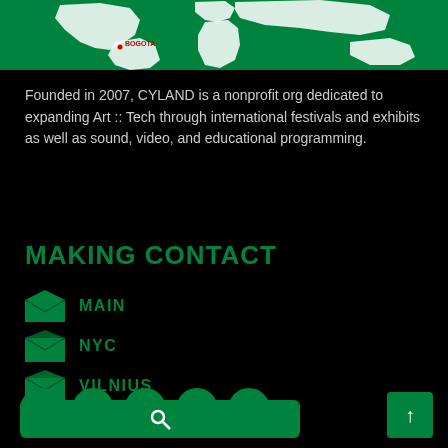[Figure (map): Green world map with white landmasses on green background, showing text 'BOGOTA' with a red dot marker]
Founded in 2007, CYLAND is a nonprofit org dedicated to expanding Art :: Tech through international festivals and exhibits as well as sound, video, and educational programming.
MAKING CONTACT
MAIN
NYC
VILNIUS
[Figure (infographic): Social media icons row: Facebook, Twitter, VK, YouTube, Instagram — all green circles with white icons]
[Figure (other): Green search bar with magnifying glass icon, and green up-arrow button]